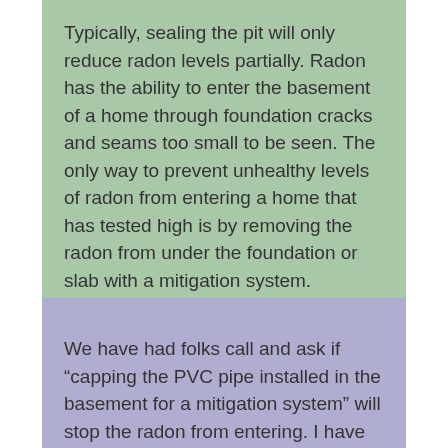Typically, sealing the pit will only reduce radon levels partially. Radon has the ability to enter the basement of a home through foundation cracks and seams too small to be seen. The only way to prevent unhealthy levels of radon from entering a home that has tested high is by removing the radon from under the foundation or slab with a mitigation system.
We have had folks call and ask if “capping the PVC pipe installed in the basement for a mitigation system” will stop the radon from entering. I have tested several homes over the past few months that fall into this category. Yes, if you cap the pipe, the radon will be reduced. Unfortunately, it will